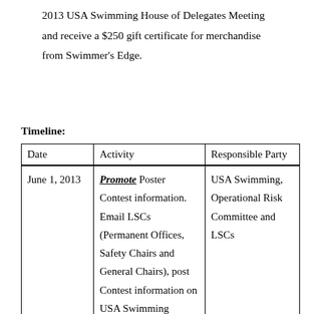2013 USA Swimming House of Delegates Meeting and receive a $250 gift certificate for merchandise from Swimmer's Edge.
Timeline:
| Date | Activity | Responsible Party |
| --- | --- | --- |
| June 1, 2013 | Promote Poster Contest information.  Email LSCs (Permanent Offices, Safety Chairs and General Chairs), post Contest information on USA Swimming website | USA Swimming, Operational Risk Committee and LSCs |